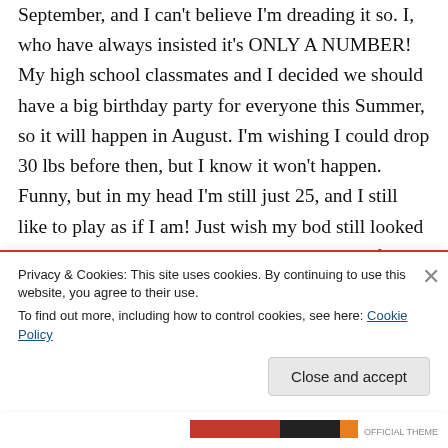September, and I can't believe I'm dreading it so. I, who have always insisted it's ONLY A NUMBER! My high school classmates and I decided we should have a big birthday party for everyone this Summer, so it will happen in August. I'm wishing I could drop 30 lbs before then, but I know it won't happen. Funny, but in my head I'm still just 25, and I still like to play as if I am! Just wish my bod still looked the way it did then. I have never liked posing for pictures; I'm not very photogenic. I have no children to
Privacy & Cookies: This site uses cookies. By continuing to use this website, you agree to their use.
To find out more, including how to control cookies, see here: Cookie Policy
Close and accept